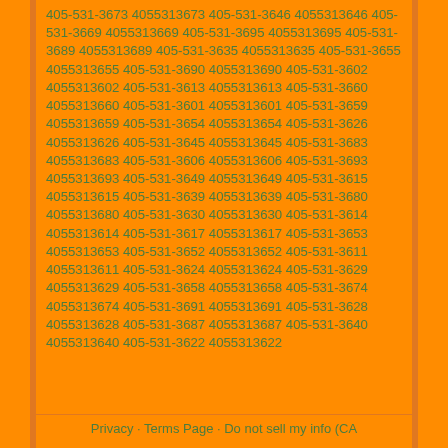405-531-3673 4055313673 405-531-3646 4055313646 405-531-3669 4055313669 405-531-3695 4055313695 405-531-3689 4055313689 405-531-3635 4055313635 405-531-3655 4055313655 405-531-3690 4055313690 405-531-3602 4055313602 405-531-3613 4055313613 405-531-3660 4055313660 405-531-3601 4055313601 405-531-3659 4055313659 405-531-3654 4055313654 405-531-3626 4055313626 405-531-3645 4055313645 405-531-3683 4055313683 405-531-3606 4055313606 405-531-3693 4055313693 405-531-3649 4055313649 405-531-3615 4055313615 405-531-3639 4055313639 405-531-3680 4055313680 405-531-3630 4055313630 405-531-3614 4055313614 405-531-3617 4055313617 405-531-3653 4055313653 405-531-3652 4055313652 405-531-3611 4055313611 405-531-3624 4055313624 405-531-3629 4055313629 405-531-3658 4055313658 405-531-3674 4055313674 405-531-3691 4055313691 405-531-3628 4055313628 405-531-3687 4055313687 405-531-3640 4055313640 405-531-3622 4055313622
Privacy · Terms Page · Do not sell my info (CA